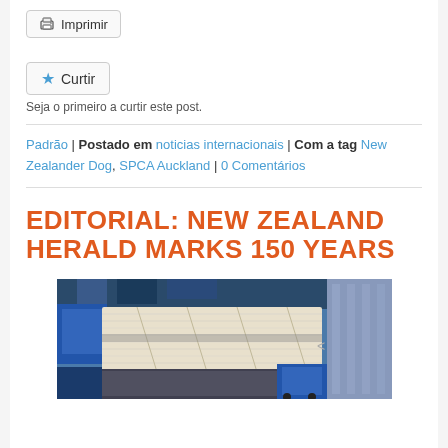Imprimir
Curtir
Seja o primeiro a curtir este post.
Padrão | Postado em noticias internacionais | Com a tag New Zealander Dog, SPCA Auckland | 0 Comentários
EDITORIAL: NEW ZEALAND HERALD MARKS 150 YEARS
[Figure (photo): Newspaper printing press with papers running through machinery, blue industrial background]